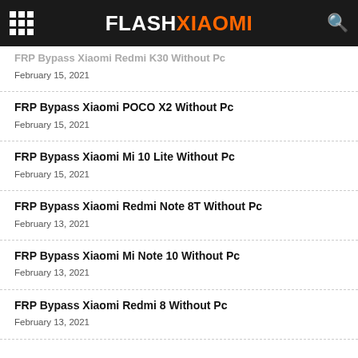FLASHXIAOMI
FRP Bypass Xiaomi Redmi K30 Without Pc
February 15, 2021
FRP Bypass Xiaomi POCO X2 Without Pc
February 15, 2021
FRP Bypass Xiaomi Mi 10 Lite Without Pc
February 15, 2021
FRP Bypass Xiaomi Redmi Note 8T Without Pc
February 13, 2021
FRP Bypass Xiaomi Mi Note 10 Without Pc
February 13, 2021
FRP Bypass Xiaomi Redmi 8 Without Pc
February 13, 2021